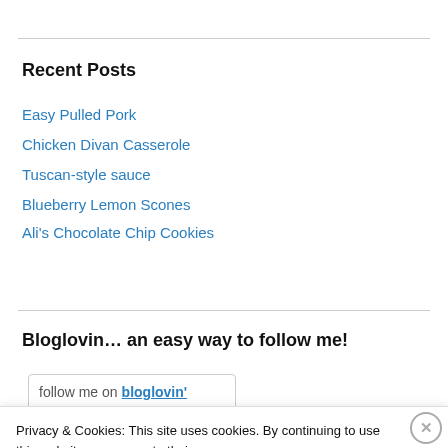Recent Posts
Easy Pulled Pork
Chicken Divan Casserole
Tuscan-style sauce
Blueberry Lemon Scones
Ali's Chocolate Chip Cookies
Bloglovin… an easy way to follow me!
[Figure (screenshot): Follow me on bloglovin' button/widget (partially visible)]
Privacy & Cookies: This site uses cookies. By continuing to use this website, you agree to their use.
To find out more, including how to control cookies, see here: Cookie Policy
Close and accept